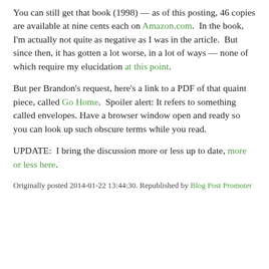You can still get that book (1998) — as of this posting, 46 copies are available at nine cents each on Amazon.com.  In the book, I'm actually not quite as negative as I was in the article.  But since then, it has gotten a lot worse, in a lot of ways — none of which require my elucidation at this point.
But per Brandon's request, here's a link to a PDF of that quaint piece, called Go Home.  Spoiler alert: It refers to something called envelopes. Have a browser window open and ready so you can look up such obscure terms while you read.
UPDATE:  I bring the discussion more or less up to date, more or less here.
Originally posted 2014-01-22 13:44:30. Republished by Blog Post Promoter